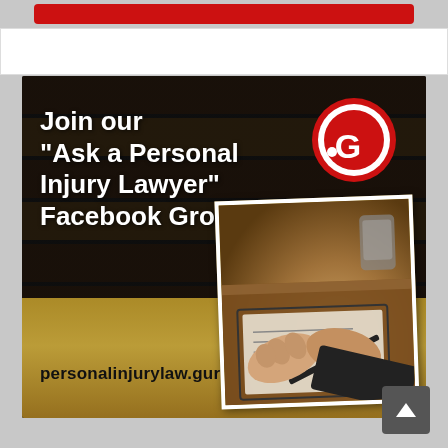[Figure (illustration): Advertisement banner for a Facebook Group called 'Ask a Personal Injury Lawyer' by personalinjurylaw.guru. Dark bookshelf background with white bold text on left, red circular .G logo top right, photo of hands over legal document bottom right, gold band at bottom showing the website URL.]
Join our "Ask a Personal Injury Lawyer" Facebook Group
personalinjurylaw.guru